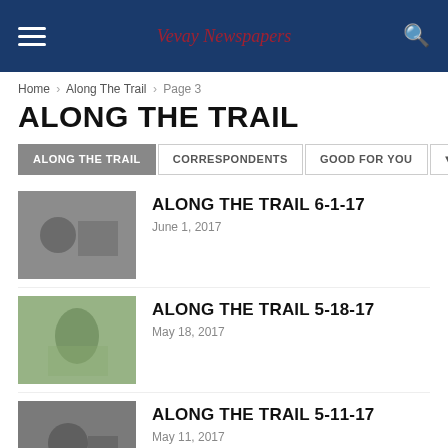Vevay Newspapers
Home › Along The Trail › Page 3
ALONG THE TRAIL
ALONG THE TRAIL | CORRESPONDENTS | GOOD FOR YOU
ALONG THE TRAIL 6-1-17
June 1, 2017
ALONG THE TRAIL 5-18-17
May 18, 2017
ALONG THE TRAIL 5-11-17
May 11, 2017